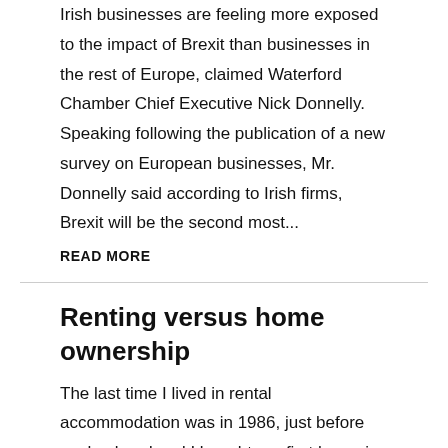Irish businesses are feeling more exposed to the impact of Brexit than businesses in the rest of Europe, claimed Waterford Chamber Chief Executive Nick Donnelly. Speaking following the publication of a new survey on European businesses, Mr. Donnelly said according to Irish firms, Brexit will be the second most...
READ MORE
Renting versus home ownership
The last time I lived in rental accommodation was in 1986, just before my husband and I bought our first home in Dublin. The only time before that date that I lived in an family-owned home was 1968, and then, for just the previous six years. Home ownership was not for us, but my family's story would not be untypical...
READ MORE